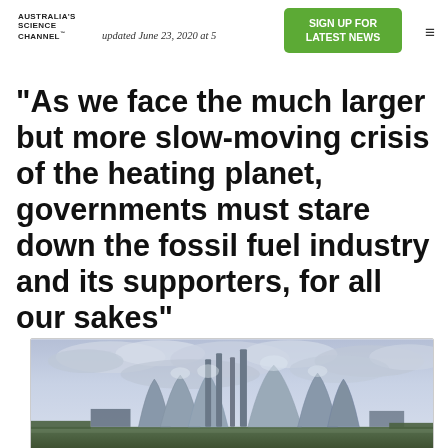AUSTRALIA'S SCIENCE CHANNEL | updated June 23, 2020 at 5 | SIGN UP FOR LATEST NEWS
“As we face the much larger but more slow-moving crisis of the heating planet, governments must stare down the fossil fuel industry and its supporters, for all our sakes”
[Figure (photo): Aerial photograph of a coal-fired power station with large cooling towers and tall chimneys against a dramatic cloudy sky]